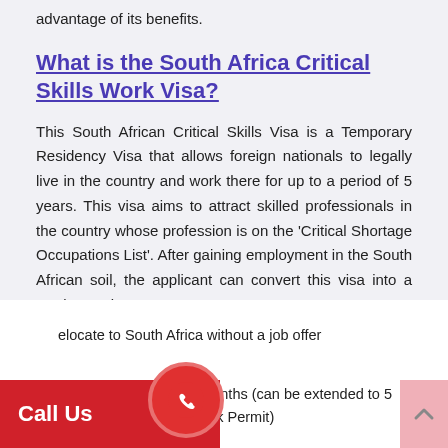advantage of its benefits.
What is the South Africa Critical Skills Work Visa?
This South African Critical Skills Visa is a Temporary Residency Visa that allows foreign nationals to legally live in the country and work there for up to a period of 5 years. This visa aims to attract skilled professionals in the country whose profession is on the 'Critical Shortage Occupations List'. After gaining employment in the South African soil, the applicant can convert this visa into a Work Permit.
1. relocate to South Africa without a job offer
2. The visa is valid for 12 months (can be extended to 5 years to a Critical Skills Work Permit)